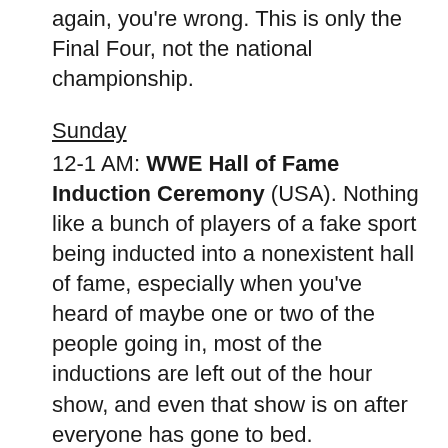again, you're wrong. This is only the Final Four, not the national championship.
Sunday
12-1 AM: WWE Hall of Fame Induction Ceremony (USA). Nothing like a bunch of players of a fake sport being inducted into a nonexistent hall of fame, especially when you've heard of maybe one or two of the people going in, most of the inductions are left out of the hour show, and even that show is on after everyone has gone to bed.
10-11:30 AM: PBA Bowling, Tournament of Champions (ESPN). I'll be watching the NBA, as ABC has some pretty good games, but I have a policy of putting every championship